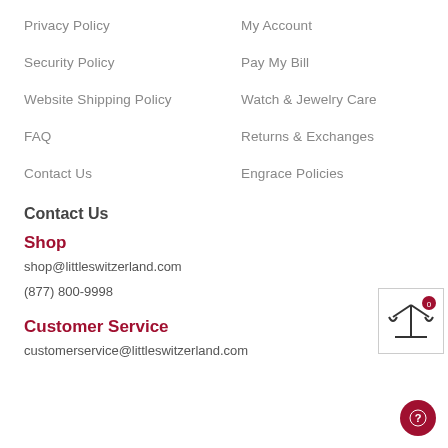Privacy Policy
My Account
Security Policy
Pay My Bill
Website Shipping Policy
Watch & Jewelry Care
FAQ
Returns & Exchanges
Contact Us
Engrace Policies
Contact Us
Shop
shop@littleswitzerland.com
(877) 800-9998
Customer Service
customerservice@littleswitzerland.com
[Figure (infographic): Compare widget showing a scale/balance icon with a badge showing 0]